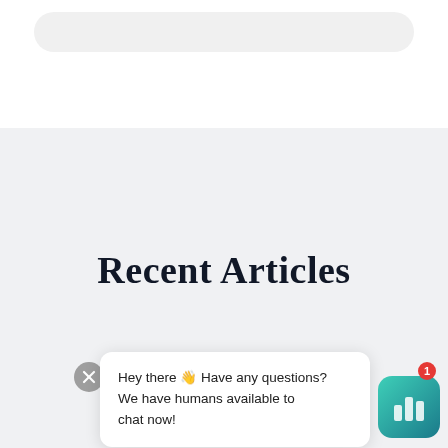[Figure (screenshot): Search bar / input field at top of page, rounded rectangle on white background]
Recent Articles
Hey there 👋 Have any questions? We have humans available to chat now!
[Figure (logo): Chat widget icon with bar chart graphic and red notification badge showing 1]